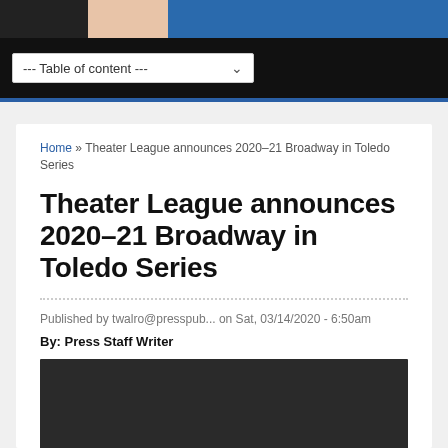[Figure (photo): Website header banner with peach/salmon and blue sections on dark background]
--- Table of content ---
Home » Theater League announces 2020–21 Broadway in Toledo Series
Theater League announces 2020–21 Broadway in Toledo Series
Published by twalro@presspub... on Sat, 03/14/2020 - 6:50am
By: Press Staff Writer
[Figure (photo): Dark/black image placeholder for article photo]